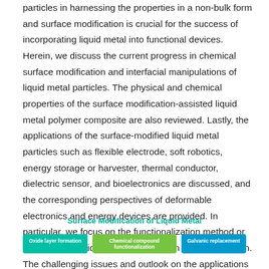particles in harnessing the properties in a non-bulk form and surface modification is crucial for the success of incorporating liquid metal into functional devices. Herein, we discuss the current progress in chemical surface modification and interfacial manipulations of liquid metal particles. The physical and chemical properties of the surface modification-assisted liquid metal polymer composite are also reviewed. Lastly, the applications of the surface-modified liquid metal particles such as flexible electrode, soft robotics, energy storage or harvester, thermal conductor, dielectric sensor, and bioelectronics are discussed, and the corresponding perspectives of deformable electronics and energy devices are provided. In particular, we focus on the functionalization method or requirement of liquid metal particles in each application. The challenging issues and outlook on the applications of surface-modified liquid metal particles are also discussed.
Surface Modification of Liquid Metal
[Figure (infographic): Three colored buttons/labels: 'Oxide layer formation' (teal), 'Chemical compound functionalization' (green), 'Galvanic replacement' (blue)]